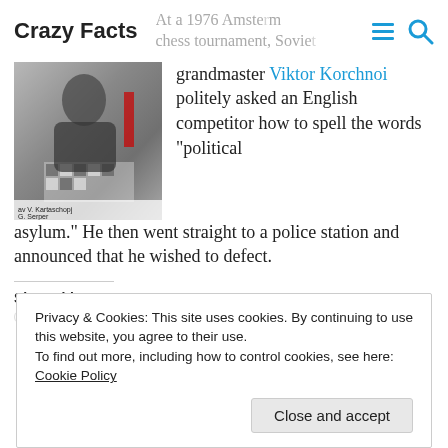Crazy Facts
At a 1976 Amsterdam chess tournament, Soviet grandmaster Viktor Korchnoi politely asked an English competitor how to spell the words “political asylum.” He then went straight to a police station and announced that he wished to defect.
[Figure (photo): Photograph of Viktor Korchnoi playing chess at a tournament, with chess pieces visible on the board and a flag in the background. Caption overlay reads 'av V. Kartaschopj G. Serper']
Share this:
Privacy & Cookies: This site uses cookies. By continuing to use this website, you agree to their use.
To find out more, including how to control cookies, see here:
Cookie Policy
Close and accept